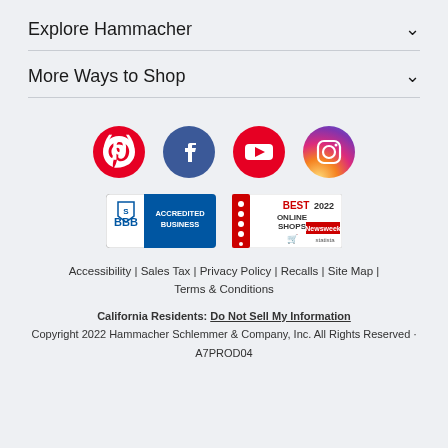Explore Hammacher
More Ways to Shop
[Figure (logo): Social media icons row: Pinterest, Facebook, YouTube, Instagram]
[Figure (logo): BBB Accredited Business badge and Best Online Shops 2022 Newsweek/Statista badge]
Accessibility | Sales Tax | Privacy Policy | Recalls | Site Map | Terms & Conditions
California Residents: Do Not Sell My Information
Copyright 2022 Hammacher Schlemmer & Company, Inc. All Rights Reserved · A7PROD04